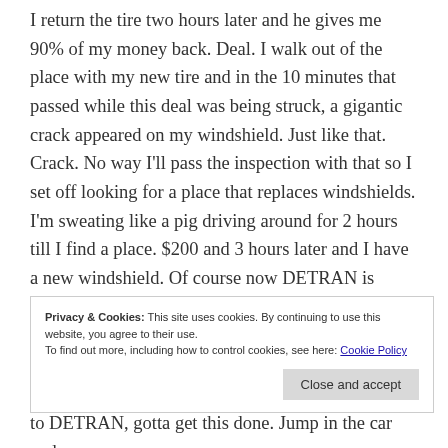I return the tire two hours later and he gives me 90% of my money back. Deal. I walk out of the place with my new tire and in the 10 minutes that passed while this deal was being struck, a gigantic crack appeared on my windshield. Just like that. Crack. No way I'll pass the inspection with that so I set off looking for a place that replaces windshields. I'm sweating like a pig driving around for 2 hours till I find a place. $200 and 3 hours later and I have a new windshield. Of course now DETRAN is closed. Next morning I was up ready for
Privacy & Cookies: This site uses cookies. By continuing to use this website, you agree to their use.
To find out more, including how to control cookies, see here: Cookie Policy
to DETRAN, gotta get this done. Jump in the car and